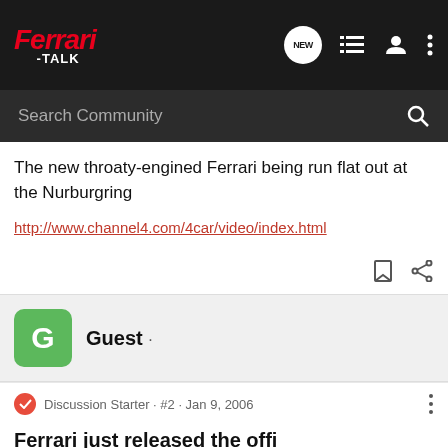Ferrari-TALK
The new throaty-engined Ferrari being run flat out at the Nurburgring
http://www.channel4.com/4car/video/index.html
Guest ·
Discussion Starter · #2 · Jan 9, 2006
Ferrari just released the offi
Ferrari just released the official name. It is 599 GTB